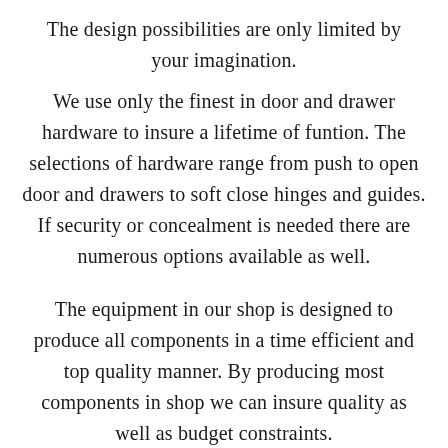The design possibilities are only limited by your imagination.
We use only the finest in door and drawer hardware to insure a lifetime of funtion. The selections of hardware range from push to open door and drawers to soft close hinges and guides. If security or concealment is needed there are numerous options available as well.
The equipment in our shop is designed to produce all components in a time efficient and top quality manner. By producing most components in shop we can insure quality as well as budget constraints.